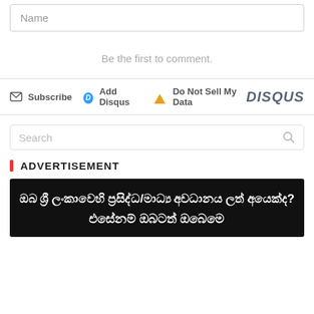Name
Be the first to comment.
Subscribe  Add Disqus  Do Not Sell My Data  DISQUS
Search
ADVERTISEMENT
[Figure (other): Black banner with Sinhala text: ඔබ ශ්‍රී ලංකාවෙහි ප්‍රසිද්ධ/මාධ්‍ය අවධානය ලත් අයෙක්ද? එසේනම් ඔබටත් ඔබෙමෙ]